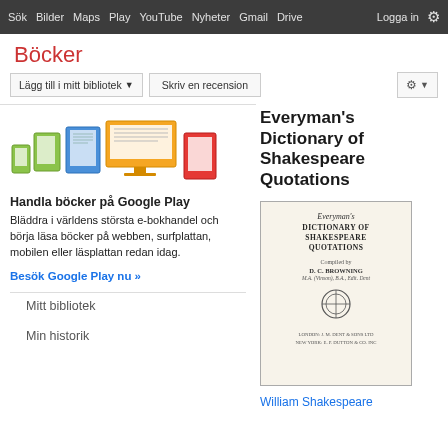Sök Bilder Maps Play YouTube Nyheter Gmail Drive Logga in ⚙
Böcker
Lägg till i mitt bibliotek ▼   Skriv en recension   ⚙ ▼
Everyman's Dictionary of Shakespeare Quotations
[Figure (illustration): Icons of various devices: phone, tablet, laptop, monitor, e-reader in green, blue, yellow/orange, and red colors]
Handla böcker på Google Play
Bläddra i världens största e-bokhandel och börja läsa böcker på webben, surfplattan, mobilen eller läsplattan redan idag.
Besök Google Play nu »
[Figure (illustration): Book cover of Everyman's Dictionary of Shakespeare Quotations. Compiled by D. C. Browning, M.A. (Vinson), B.A., Edit. Dent. London: J. M. Dent & Sons Ltd, New York: E. P. Dutton & Co. Inc.]
Mitt bibliotek
Min historik
William Shakespeare